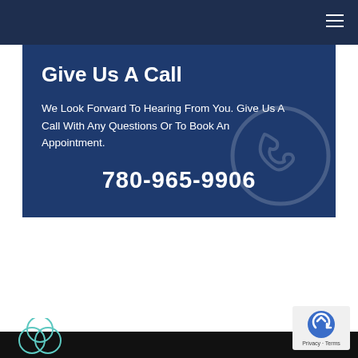Navigation bar with hamburger menu
Give Us A Call
We Look Forward To Hearing From You. Give Us A Call With Any Questions Or To Book An Appointment.
780-965-9906
[Figure (illustration): Circular phone icon watermark in background of blue call section]
[Figure (logo): Three overlapping circles logo in footer area, bottom left]
[Figure (other): Back to top button with circular arrow icon, bottom right corner]